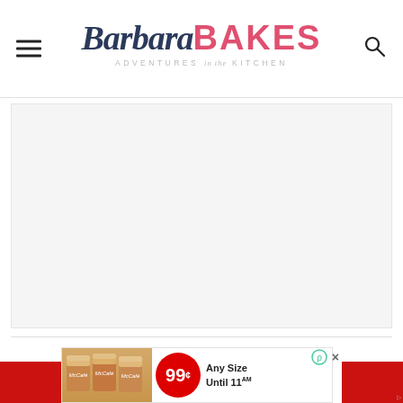Barbara BAKES — ADVENTURES in the KITCHEN
[Figure (screenshot): Large white/light gray rectangular content area, appears to be a placeholder for a blog post image or embedded content]
[Figure (photo): McDonald's McCafe advertisement banner showing three iced coffee drinks with red 99 cent price circle and text 'Any Size Until 11AM']